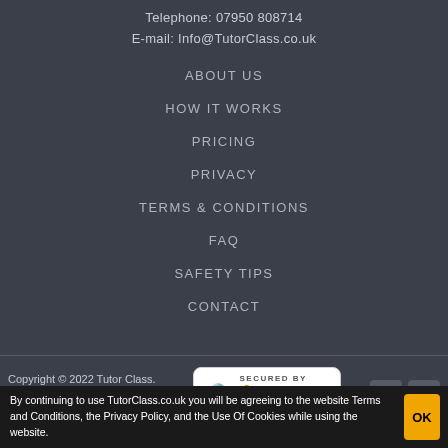Telephone:  07950 808714
E-mail:  Info@TutorClass.co.uk
ABOUT US
HOW IT WORKS
PRICING
PRIVACY
TERMS & CONDITIONS
FAQ
SAFETY TIPS
CONTACT
Copyright © 2022 Tutor Class. Terms. Privacy Policy. Disclaimer.
[Figure (logo): Secured by PositiveSSL badge with padlock icon]
[Figure (other): Facebook and Twitter social media icons]
By continuing to use TutorClass.co.uk you will be agreeing to the website Terms and Conditions, the Privacy Policy, and the Use Of Cookies while using the website.